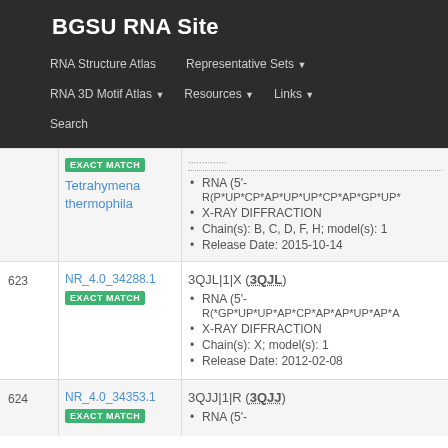BGSU RNA Site
RNA Structure Atlas | Representative Sets | RNA 3D Motif Atlas | Resources | Links | Search
EXACT MATCH
Tetrahymena thermophila
RNA (5'-R(P*UP*CP*AP*UP*UP*CP*AP*GP*UP*...
X-RAY DIFFRACTION
Chain(s): B, C, D, F, H; model(s): 1
Release Date: 2015-10-14
| # | ID | Details |
| --- | --- | --- |
| 623 | NR_4.0_34288.1
EXACT MATCH | 3QJL|1|X (3QJL)
RNA (5'-R(*GP*UP*UP*AP*CP*AP*AP*UP*AP*A...
X-RAY DIFFRACTION
Chain(s): X; model(s): 1
Release Date: 2012-02-08 |
| 624 | NR_4.0_34353.1
EXACT MATCH | 3QJJ|1|R (3QJJ)
RNA (5'- |